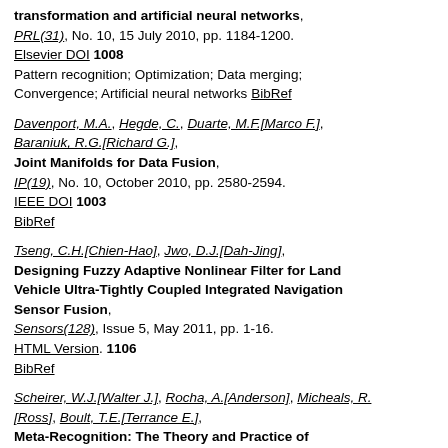transformation and artificial neural networks, PRL(31), No. 10, 15 July 2010, pp. 1184-1200. Elsevier DOI 1008 Pattern recognition; Optimization; Data merging; Convergence; Artificial neural networks BibRef
Davenport, M.A., Hegde, C., Duarte, M.F.[Marco F.], Baraniuk, R.G.[Richard G.], Joint Manifolds for Data Fusion, IP(19), No. 10, October 2010, pp. 2580-2594. IEEE DOI 1003 BibRef
Tseng, C.H.[Chien-Hao], Jwo, D.J.[Dah-Jing], Designing Fuzzy Adaptive Nonlinear Filter for Land Vehicle Ultra-Tightly Coupled Integrated Navigation Sensor Fusion, Sensors(128), Issue 5, May 2011, pp. 1-16. HTML Version. 1106 BibRef
Scheirer, W.J.[Walter J.], Rocha, A.[Anderson], Micheals, R.[Ross], Boult, T.E.[Terrance E.], Meta-Recognition: The Theory and Practice of Recognition Score Analysis, PAMI(33), No. 8, August 2011, pp. 1689-1695.